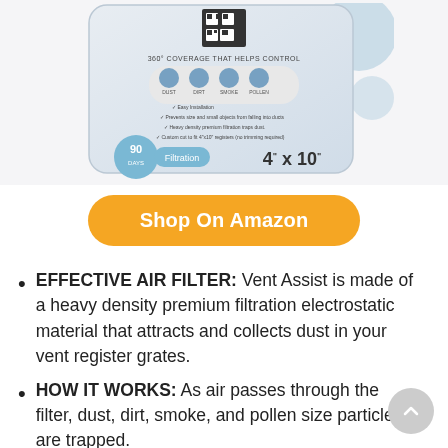[Figure (photo): Product packaging for Vent Assist air filter, showing 90 Days Filtration label, 4"x10" size, 360° coverage icons for dust, dirt, smoke, pollen, and bullet points about features.]
Shop On Amazon
EFFECTIVE AIR FILTER: Vent Assist is made of a heavy density premium filtration electrostatic material that attracts and collects dust in your vent register grates.
HOW IT WORKS: As air passes through the filter, dust, dirt, smoke, and pollen size particles are trapped.
PROTECTION: Vent Assist acts as a floor